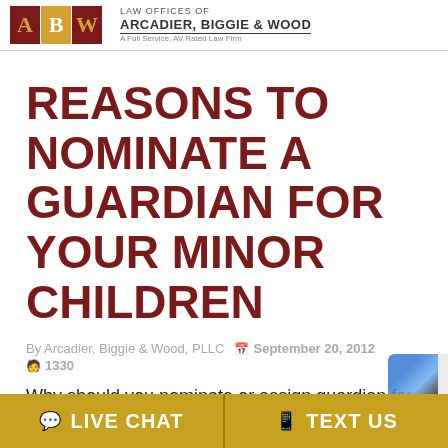LAW OFFICES OF ARCADIER, BIGGIE & WOOD — A Full Service, AV Rated Law Firm
REASONS TO NOMINATE A GUARDIAN FOR YOUR MINOR CHILDREN
By Arcadier, Biggie & Wood, PLLC  September 20, 2012  1330
Why should you nominate or assign guardian for my minor children?
Reasons to nominate have a Guardian in you